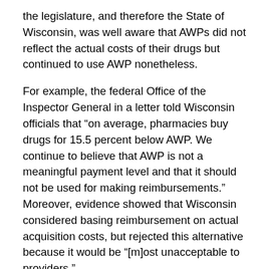the legislature, and therefore the State of Wisconsin, was well aware that AWPs did not reflect the actual costs of their drugs but continued to use AWP nonetheless.
For example, the federal Office of the Inspector General in a letter told Wisconsin officials that “on average, pharmacies buy drugs for 15.5 percent below AWP. We continue to believe that AWP is not a meaningful payment level and that it should not be used for making reimbursements.” Moreover, evidence showed that Wisconsin considered basing reimbursement on actual acquisition costs, but rejected this alternative because it would be “[m]ost unacceptable to providers.”
Based on this information, Wisconsin continued to use the AWP but reduced reimbursement for brand drugs to AWP minus 10 percent, rather